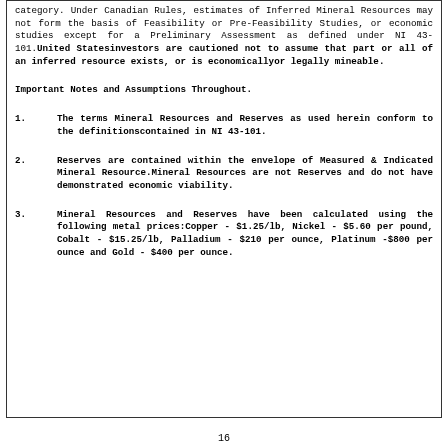category. Under Canadian Rules, estimates of Inferred Mineral Resources may not form the basis of Feasibility or Pre-Feasibility Studies, or economic studies except for a Preliminary Assessment as defined under NI 43-101. United Statesinvestors are cautioned not to assume that part or all of an inferred resource exists, or is economicallyor legally mineable.
Important Notes and Assumptions Throughout.
1.      The terms Mineral Resources and Reserves as used herein conform to the definitionscontained in NI 43-101.
2.      Reserves are contained within the envelope of Measured & Indicated Mineral Resource.Mineral Resources are not Reserves and do not have demonstrated economic viability.
3.      Mineral Resources and Reserves have been calculated using the following metal prices:Copper - $1.25/lb, Nickel - $5.60 per pound, Cobalt - $15.25/lb, Palladium - $210 per ounce, Platinum -$800 per ounce and Gold - $400 per ounce.
16